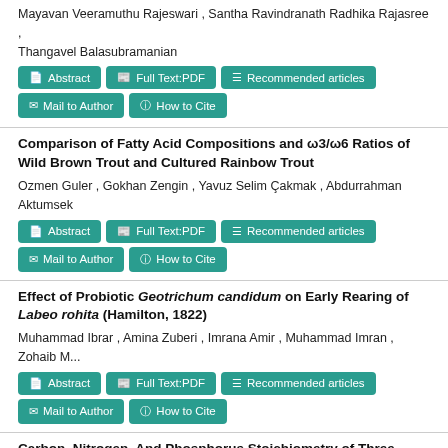Mayavan Veeramuthu Rajeswari , Santha Ravindranath Radhika Rajasree , Thangavel Balasubramanian
Abstract | Full Text:PDF | Recommended articles | Mail to Author | How to Cite
Comparison of Fatty Acid Compositions and ω3/ω6 Ratios of Wild Brown Trout and Cultured Rainbow Trout
Ozmen Guler , Gokhan Zengin , Yavuz Selim Çakmak , Abdurrahman Aktumsek
Abstract | Full Text:PDF | Recommended articles | Mail to Author | How to Cite
Effect of Probiotic Geotrichum candidum on Early Rearing of Labeo rohita (Hamilton, 1822)
Muhammad Ibrar , Amina Zuberi , Imrana Amir , Muhammad Imran , Zohaib M...
Abstract | Full Text:PDF | Recommended articles | Mail to Author | How to Cite
Carbon, Nitrogen, And Phosphorus Stoichiometry of Three